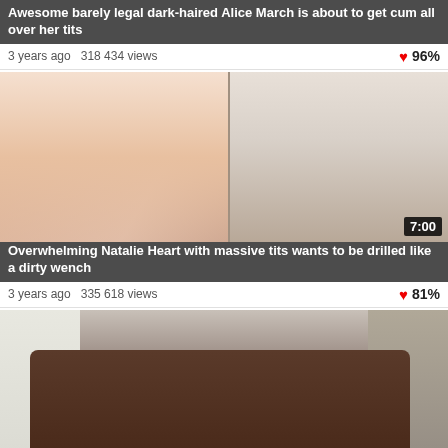Awesome barely legal dark-haired Alice March is about to get cum all over her tits
3 years ago  318 434 views  96%
[Figure (photo): Split thumbnail showing adult content - left: body, right: face]
Overwhelming Natalie Heart with massive tits wants to be drilled like a dirty wench
3 years ago  335 618 views  81%
[Figure (photo): Thumbnail showing adult video content on couch scene, duration 5:00]
Seductive miss Arisa with huge tits is a pro when she begins sucking